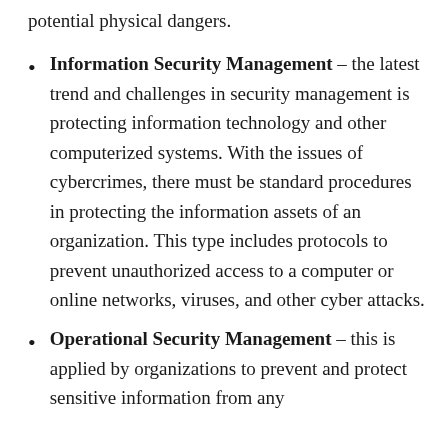potential physical dangers.
Information Security Management – the latest trend and challenges in security management is protecting information technology and other computerized systems. With the issues of cybercrimes, there must be standard procedures in protecting the information assets of an organization. This type includes protocols to prevent unauthorized access to a computer or online networks, viruses, and other cyber attacks.
Operational Security Management – this is applied by organizations to prevent and protect sensitive information from any